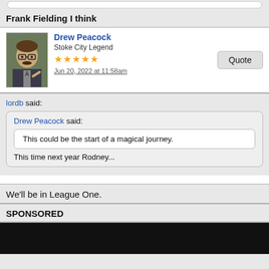Frank Fielding I think
Drew Peacock
Stoke City Legend
★★★★★
Jun 20, 2022 at 11:58am
lordb said:
Drew Peacock said:
This could be the start of a magical journey.
This time next year Rodney...
We'll be in League One.
SPONSORED